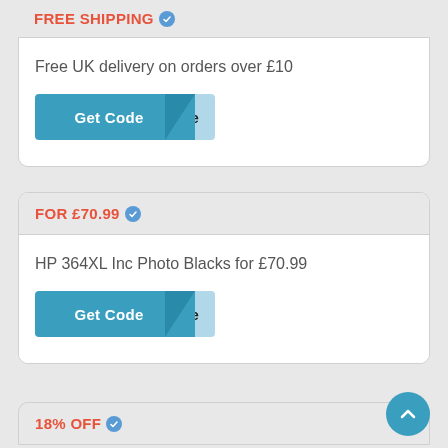FREE SHIPPING ✓
Free UK delivery on orders over £10
Get Code
FOR £70.99 ✓
HP 364XL Inc Photo Blacks for £70.99
Get Code
18% OFF ✓